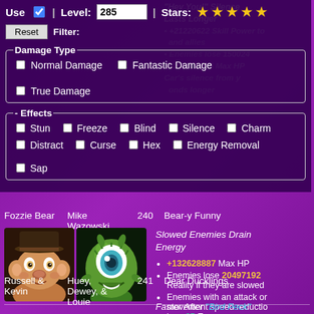"Hey You!" Silence (partial, top)
Lasts Longer (partial)
+21220622 Skill Power to and allies (partial)
Enemies lose 150424... (partial)
...1119925575 Max HP (partial)
Can's silence from... onds longer (partial)
Use ✓  |  Level: 285  |  Stars: ★ ★ ★ ★ ★
Reset  Filter:
Damage Type — Normal Damage  Fantastic Damage  True Damage
- Effects — Stun  Freeze  Blind  Silence  Charm  Distract  Curse  Hex  Energy Removal  Sap
Fozzie Bear  Mike Wazowski  240  Bear-y Funny
[Figure (illustration): Portrait of Fozzie Bear (Muppet character) on the left and Mike Wazowski (Monsters Inc. character) on the right]
Slowed Enemies Drain Energy
+132628887 Max HP
Enemies lose 20497192 Reality if they are slowed
Enemies with an attack or movement speed reduction lose 35 Energy per second
Russell & Kevin  Huey, Dewey, & Louie  241  Dear Ducklings
Faster After "Bird Peck"